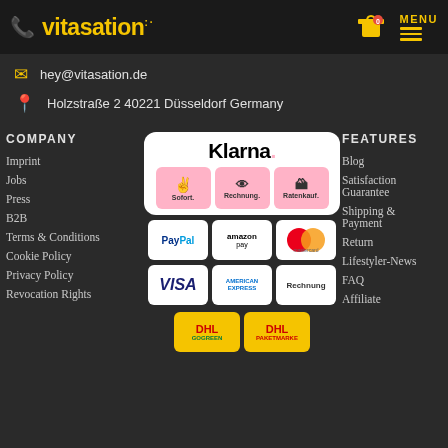vitasation — MENU header with cart icon (0 items)
hey@vitasation.de
Holzstraße 2 40221 Düsseldorf Germany
COMPANY
Imprint
Jobs
Press
B2B
Terms & Conditions
Cookie Policy
Privacy Policy
Revocation Rights
[Figure (infographic): Payment methods: Klarna (Sofort, Rechnung, Ratenkauf), PayPal, Amazon Pay, Mastercard, VISA, American Express, Rechnung, DHL GoGreen, DHL Paketmarke]
FEATURES
Blog
Satisfaction Guarantee
Shipping & Payment
Return
Lifestyler-News
FAQ
Affiliate